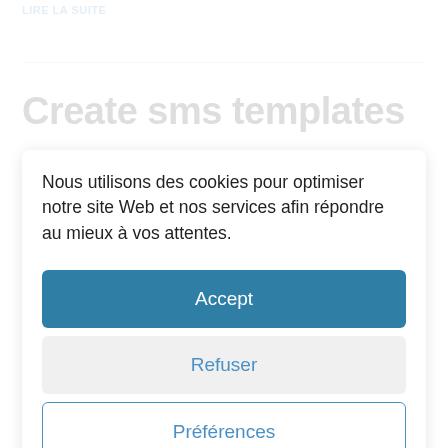LIRE LA SUITE
Create sms templates
Nous utilisons des cookies pour optimiser notre site Web et nos services afin répondre au mieux à vos attentes.
Accept
Refuser
Préférences
Politique des Cookies   Politique de confidentialité